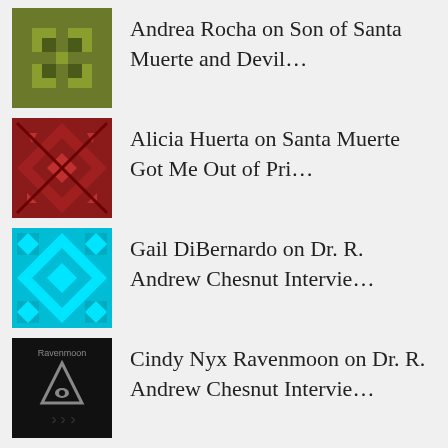Andrea Rocha on Son of Santa Muerte and Devil…
Alicia Huerta on Santa Muerte Got Me Out of Pri…
Gail DiBernardo on Dr. R. Andrew Chesnut Intervie…
Cindy Nyx Ravenmoon on Dr. R. Andrew Chesnut Intervie…
Follow Blog via Email
Enter your email address to follow this blog and receive notifications of new posts by email.